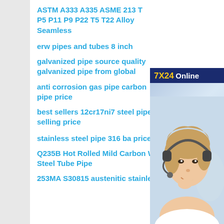ASTM A333 A335 ASME 213 T P5 P11 P9 P22 T5 T22 Alloy Seamless
erw pipes and tubes 8 inch
galvanized pipe source quality galvanized pipe from global
anti corrosion gas pipe carbon pipe price
best sellers 12cr17ni7 steel pipe selling price
stainless steel pipe 316 ba price
Q235B Hot Rolled Mild Carbon Welded Steel Tube Pipe
253MA S30815 austenitic stainless
[Figure (illustration): Online chat customer service advertisement banner with 7X24 Online label, a smiling woman wearing a headset, and a 'Get Latest Price' button. Says 'Hello, may I help you?']